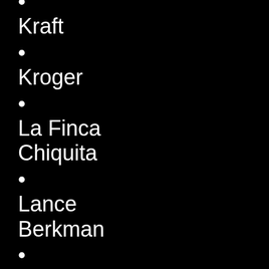Kraft
Kroger
La Finca Chiquita
Lance Berkman
Las Colinas Movie Studios
League Insurance
Leap Surgical
Legacy Mutual Mortgage
Lewisville ISD
Lincoln-